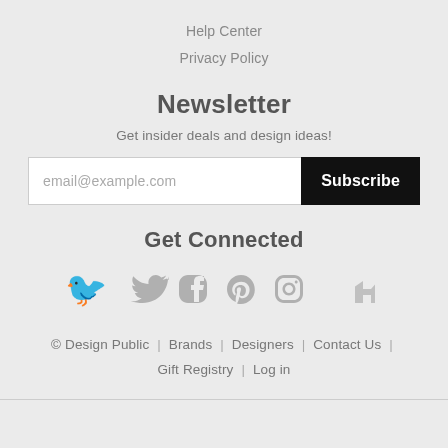Help Center
Privacy Policy
Newsletter
Get insider deals and design ideas!
email@example.com  Subscribe
Get Connected
[Figure (illustration): Social media icons: Twitter, Facebook, Pinterest, Instagram, Houzz]
© Design Public | Brands | Designers | Contact Us | Gift Registry | Log in